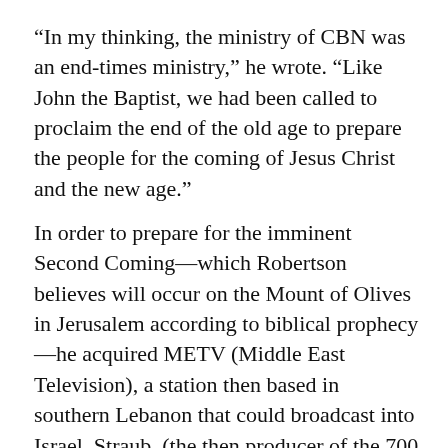“In my thinking, the ministry of CBN was an end-times ministry,” he wrote. “Like John the Baptist, we had been called to proclaim the end of the old age to prepare the people for the coming of Jesus Christ and the new age.”
In order to prepare for the imminent Second Coming—which Robertson believes will occur on the Mount of Olives in Jerusalem according to biblical prophecy—he acquired METV (Middle East Television), a station then based in southern Lebanon that could broadcast into Israel. Straub, (the then producer of the 700 Club) was given marching orders to be ready to televise Christ’s return. CBN executives drew up a detailed plan to broadcast the event to every